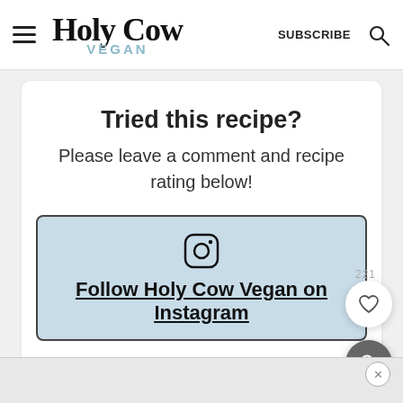Holy Cow Vegan — SUBSCRIBE
Tried this recipe?
Please leave a comment and recipe rating below!
Follow Holy Cow Vegan on Instagram
221